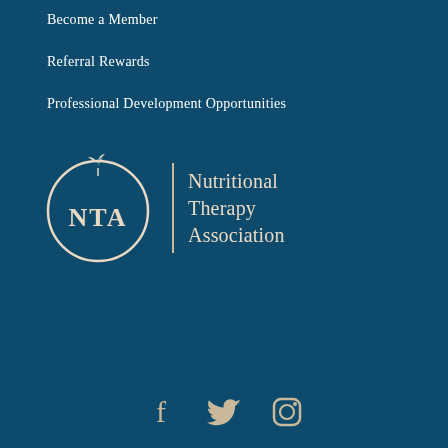Become a Member
Referral Rewards
Professional Development Opportunities
[Figure (logo): Nutritional Therapy Association (NTA) logo: a white circle with NTA letters and a plant sprig, beside a vertical divider and the text 'Nutritional Therapy Association' in cream/beige serif font, all on a dark teal background.]
[Figure (infographic): Social media icons row: Facebook, Twitter, Instagram icons in cream/beige color at the bottom of the page.]